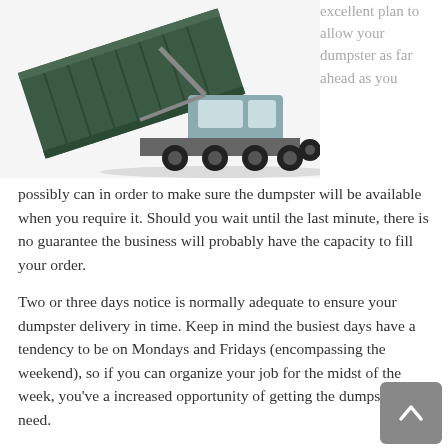[Figure (photo): A roll-off dumpster being unloaded from a large truck, shown at an angle with the container tilted.]
excellent plan to allow your dumpster as far ahead as you possibly can in order to make sure the dumpster will be available when you require it. Should you wait until the last minute, there is no guarantee the business will probably have the capacity to fill your order.
Two or three days notice is normally adequate to ensure your dumpster delivery in time. Keep in mind the busiest days have a tendency to be on Mondays and Fridays (encompassing the weekend), so if you can organize your job for the midst of the week, you've a increased opportunity of getting the dumpster you need.
If you find out you need a dumpster the following day or even the